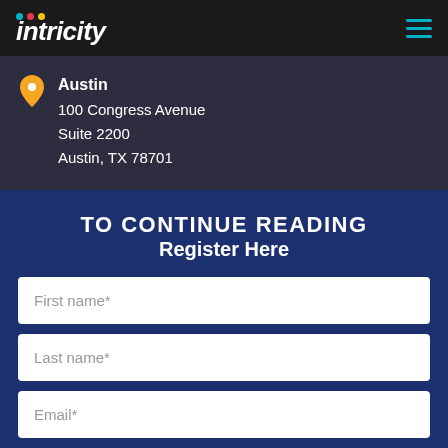intricity
Austin
100 Congress Avenue
Suite 2200
Austin, TX 78701
TO CONTINUE READING
Register Here
First name*
Last name*
Email*
Phone number*